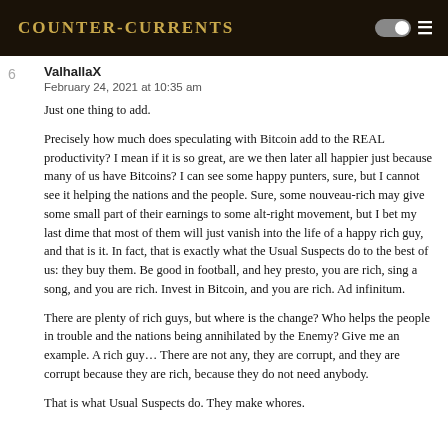Counter-Currents
ValhallаX
February 24, 2021 at 10:35 am
Just one thing to add.
Precisely how much does speculating with Bitcoin add to the REAL productivity? I mean if it is so great, are we then later all happier just because many of us have Bitcoins? I can see some happy punters, sure, but I cannot see it helping the nations and the people. Sure, some nouveau-rich may give some small part of their earnings to some alt-right movement, but I bet my last dime that most of them will just vanish into the life of a happy rich guy, and that is it. In fact, that is exactly what the Usual Suspects do to the best of us: they buy them. Be good in football, and hey presto, you are rich, sing a song, and you are rich. Invest in Bitcoin, and you are rich. Ad infinitum.
There are plenty of rich guys, but where is the change? Who helps the people in trouble and the nations being annihilated by the Enemy? Give me an example. A rich guy… There are not any, they are corrupt, and they are corrupt because they are rich, because they do not need anybody.
That is what Usual Suspects do. They make whores.